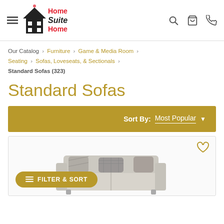Home Suite Home — navigation header with hamburger menu, logo, search, cart, and phone icons
Our Catalog › Furniture › Game & Media Room › Seating › Sofas, Loveseats, & Sectionals › Standard Sofas (323)
Standard Sofas
Sort By: Most Popular
[Figure (photo): Product listing card with a heart/wishlist icon and a partial image of a light grey sofa with patterned pillows. A gold 'FILTER & SORT' button overlays the bottom-left.]